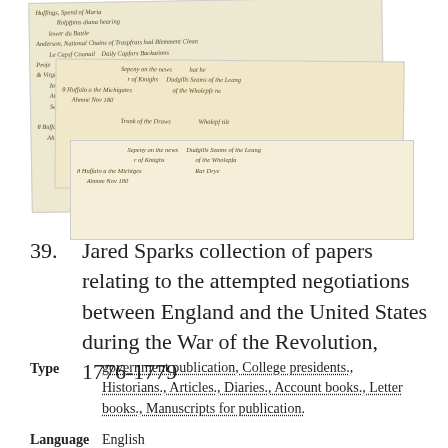[Figure (photo): Stack of three overlapping historical handwritten manuscript pages with old cursive script on aged yellowed paper]
39.  Jared Sparks collection of papers relating to the attempted negotiations between England and the United States during the War of the Revolution, 1776-1779
Type   government publication, College presidents., Historians., Articles., Diaries., Account books., Letter books., Manuscripts for publication.
Language   English